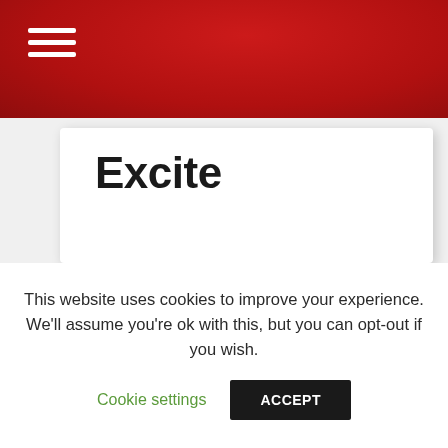Excite
Top Features
Air Conditioning
Rear Parking Sensors
This website uses cookies to improve your experience. We'll assume you're ok with this, but you can opt-out if you wish.
Cookie settings   ACCEPT